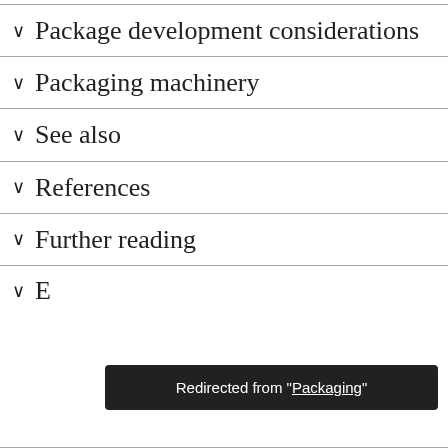Package development considerations
Packaging machinery
See also
References
Further reading
E
Redirected from "Packaging"